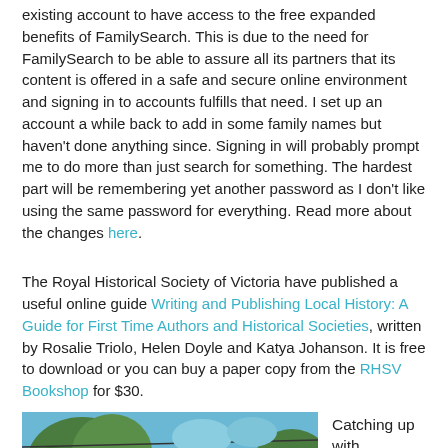existing account to have access to the free expanded benefits of FamilySearch. This is due to the need for FamilySearch to be able to assure all its partners that its content is offered in a safe and secure online environment and signing in to accounts fulfills that need. I set up an account a while back to add in some family names but haven't done anything since. Signing in will probably prompt me to do more than just search for something. The hardest part will be remembering yet another password as I don't like using the same password for everything. Read more about the changes here.
The Royal Historical Society of Victoria have published a useful online guide Writing and Publishing Local History: A Guide for First Time Authors and Historical Societies, written by Rosalie Triolo, Helen Doyle and Katya Johanson. It is free to download or you can buy a paper copy from the RHSV Bookshop for $30.
[Figure (photo): Partial view of an outdoor scene with trees against a blue sky]
Catching up with my National